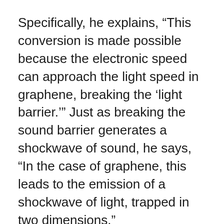Specifically, he explains, “This conversion is made possible because the electronic speed can approach the light speed in graphene, breaking the ‘light barrier.’” Just as breaking the sound barrier generates a shockwave of sound, he says, “In the case of graphene, this leads to the emission of a shockwave of light, trapped in two dimensions.”
The phenomenon the team has harnessed is called the Čerenkov effect, first described 80 years ago by Soviet physicist Pavel Čerenkov. Usually associated with astronomical phenomenon and harnessed as a way of detecting ultrafast cosmic particles as they hurtle through the universe, and also to detect particles resulting from high-energy